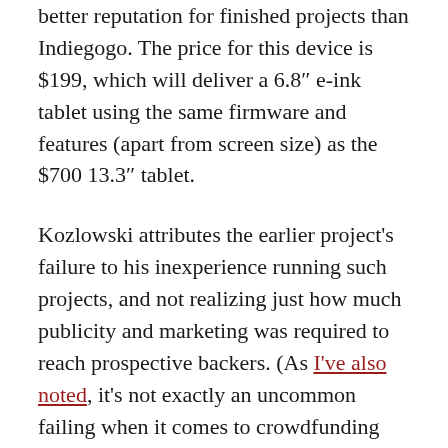better reputation for finished projects than Indiegogo. The price for this device is $199, which will deliver a 6.8″ e-ink tablet using the same firmware and features (apart from screen size) as the $700 13.3″ tablet.
Kozlowski attributes the earlier project's failure to his inexperience running such projects, and not realizing just how much publicity and marketing was required to reach prospective backers. (As I've also noted, it's not exactly an uncommon failing when it comes to crowdfunding projects.) He says that learning from those mistakes allowed the 13.3″ tablet's campaign to be a success, and he is confident the new 6.8″ campaign will be able to succeed